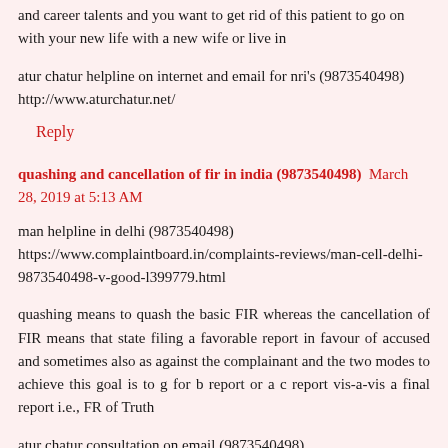and career talents and you want to get rid of this patient to go on with your new life with a new wife or live in
atur chatur helpline on internet and email for nri's (9873540498) http://www.aturchatur.net/
Reply
quashing and cancellation of fir in india (9873540498)  March 28, 2019 at 5:13 AM
man helpline in delhi (9873540498) https://www.complaintboard.in/complaints-reviews/man-cell-delhi-9873540498-v-good-l399779.html
quashing means to quash the basic FIR whereas the cancellation of FIR means that state filing a favorable report in favour of accused and sometimes also as against the complainant and the two modes to achieve this goal is to g for b report or a c report vis-a-vis a final report i.e., FR of Truth
atur chatur consultation on email (9873540498) http://www.aturchatur.info/